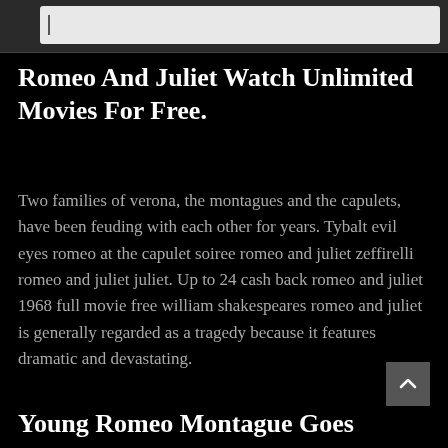[Figure (screenshot): Browser search bar / address bar area at top of page, light gray input field with cursor visible]
Romeo And Juliet Watch Unlimited Movies For Free.
Two families of verona, the montagues and the capulets, have been feuding with each other for years. Tybalt evil eyes romeo at the capulet soiree romeo and juliet zeffirelli romeo and juliet juliet. Up to 24 cash back romeo and juliet 1968 full movie free william shakespeares romeo and juliet is generally regarded as a tragedy because it features dramatic and devastating.
Young Romeo Montague Goes